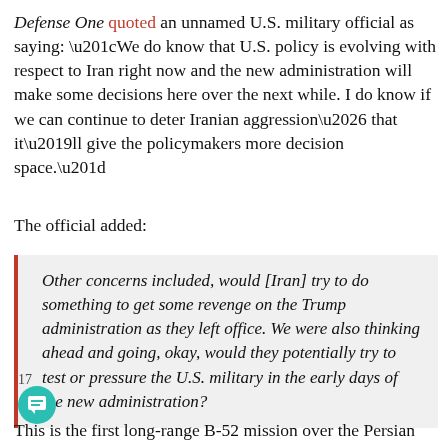Defense One quoted an unnamed U.S. military official as saying: “We do know that U.S. policy is evolving with respect to Iran right now and the new administration will make some decisions here over the next while. I do know if we can continue to deter Iranian aggression… that it’ll give the policymakers more decision space.”
The official added:
Other concerns included, would [Iran] try to do something to get some revenge on the Trump administration as they left office. We were also thinking ahead and going, okay, would they potentially try to test or pressure the U.S. military in the early days of the new administration?
This is the first long-range B-52 mission over the Persian